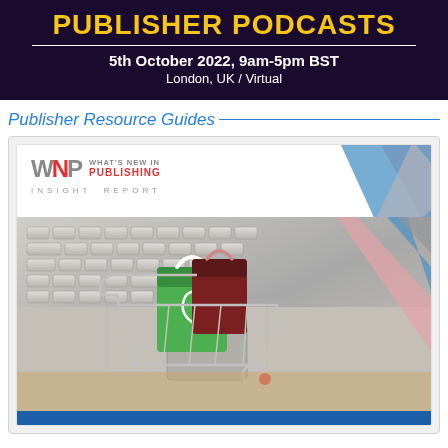PUBLISHER PODCASTS
5th October 2022, 9am-5pm BST
London, UK / Virtual
Publisher Resource Guides
[Figure (screenshot): WNIP (What's New In Publishing) Insight Report cover showing a shopping cart with bags on a laptop keyboard, with colored diagonal stripe decorations in pink, blue, and gray.]